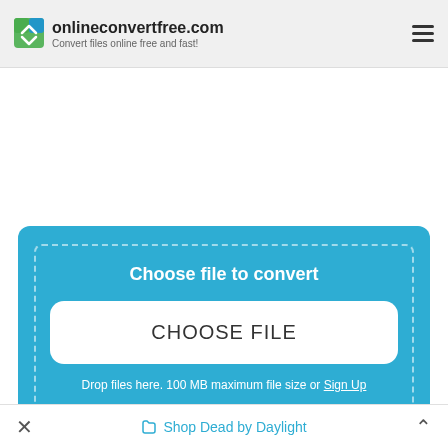onlineconvertfree.com — Convert files online free and fast!
[Figure (screenshot): Blue file conversion card with 'Choose file to convert' heading, a white CHOOSE FILE button, and drop files text with Sign Up link]
Drop files here. 100 MB maximum file size or Sign Up
Shop Dead by Daylight